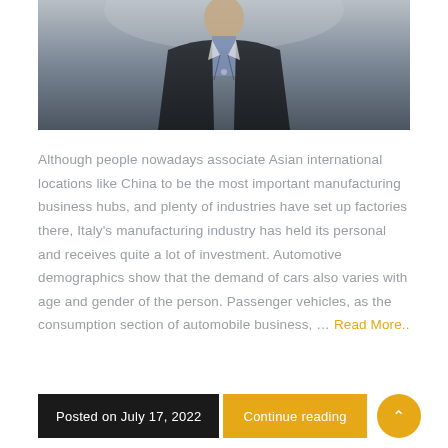[Figure (photo): A man in a dark suit photographed from chest up, outdoors, with blurred background.]
Although people nowadays associate Asian international locations like China to be the most important manufacturing business hubs, and plenty of industries have set up factories there, Italy's manufacturing industry has held its personal and receives quite a lot of investment. Automotive demographics show that the demand of cars also varies with age and gender of the person. Passenger vehicles, as the consumption section of automobile business, … Read More..
Posted on July 17, 2022  Continue reading